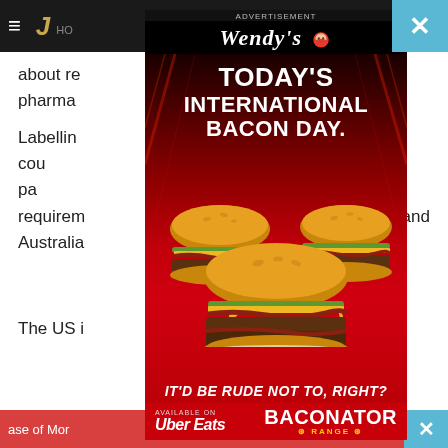Navigation bar with hamburger menu and publication logo, HO
about re... big pharma... rmac.
Labelling... ed foods and cou... ble. So could pa... r requirem... broadca... and Australia...
[Figure (infographic): Wendy's advertisement overlay. Header: ADVERTISEMENT. Logo: Wendy's with mascot icon. Headline: TODAY'S INTERNATIONAL BACON DAY. Shows three large bacon burgers/sandwiches on red background with light streaks. Tagline: IT'D BE RUDE NOT TO, RIGHT? Bottom: AVAILABLE ON Uber Eats | BACONATOR RANGE]
The US i... ons
ase of Mor... Auc ×